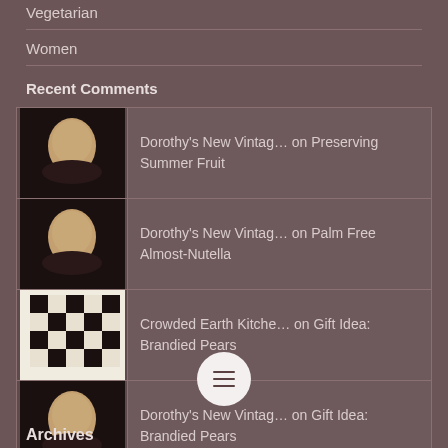Vegetarian
Women
Recent Comments
| Dorothy's New Vintag… on Preserving Summer Fruit |
| Dorothy's New Vintag… on Palm Free Almost-Nutella |
| Crowded Earth Kitche… on Gift Idea: Brandied Pears |
| Dorothy's New Vintag… on Gift Idea: Brandied Pears |
| Dorothy's New Vintag… on Spicy Zucchini Pickles |
Archives